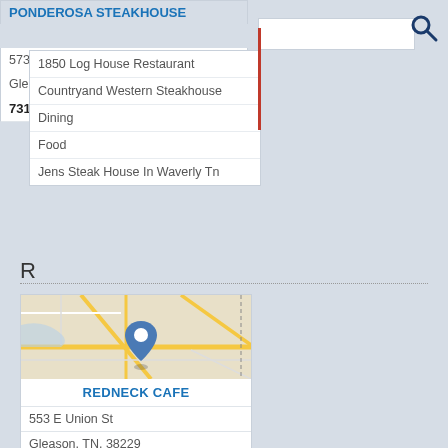PONDEROSA STEAKHOUSE
5730 Highway 22
Gleason, TN, 3822
7316482337
1850 Log House Restaurant
Countryand Western Steakhouse
Dining
Food
Jens Steak House In Waverly Tn
R
[Figure (map): Street map showing location pin in Gleason, TN area with roads and terrain]
REDNECK CAFE
553 E Union St
Gleason, TN, 38229
7316489239
Dining
Food